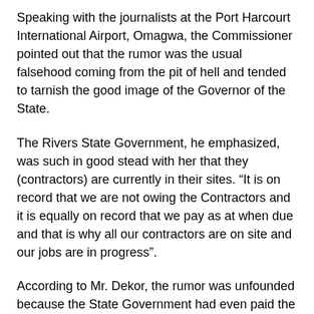Speaking with the journalists at the Port Harcourt International Airport, Omagwa, the Commissioner pointed out that the rumor was the usual falsehood coming from the pit of hell and tended to tarnish the good image of the Governor of the State.
The Rivers State Government, he emphasized, was such in good stead with her that they (contractors) are currently in their sites. “It is on record that we are not owing the Contractors and it is equally on record that we pay as at when due and that is why all our contractors are on site and our jobs are in progress”.
According to Mr. Dekor, the rumor was unfounded because the State Government had even paid the contractors for the jobs it inherited from the previous administration.
On the alleged complains that the indigenous contractors were sidelined for the multi-National, the Commissioner was all...